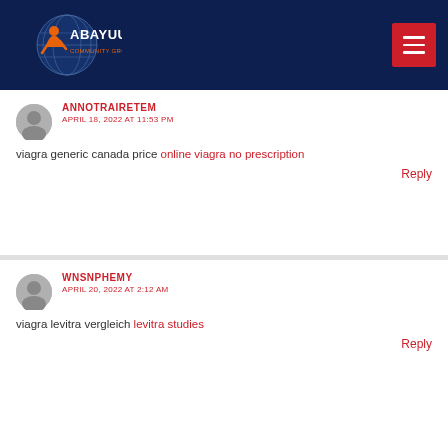Abayuuti Community Group
ANNOTRAIRETEM
APRIL 18, 2022 AT 11:53 PM
viagra generic canada price online viagra no prescription
Reply
WNSNPHEMY
APRIL 20, 2022 AT 2:12 AM
viagra levitra vergleich levitra studies
Reply